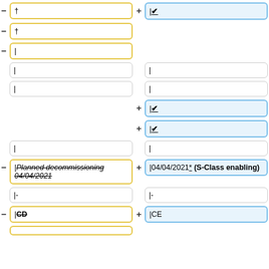- † (yellow cell left col row1)
+ |&#10004; (blue cell right col row1)
- † (yellow cell left col row2)
- | (yellow cell left col row3)
| (white cell left row4)
| (white cell right row4)
| (white cell left row5)
| (white cell right row5)
+ |&#10004; (blue cell right col row6)
+ |&#10004; (blue cell right col row7)
| (white cell left row8)
| (white cell right row8)
- |<i>Planned decommissioning 04/04/2021</i> (yellow cell left row9)
+ |04/04/2021* (S-Class enabling) (blue cell right row9)
|- (white cell left row10)
|- (white cell right row10)
- |CD (yellow cell left row11)
+ |CE (blue cell right row11)